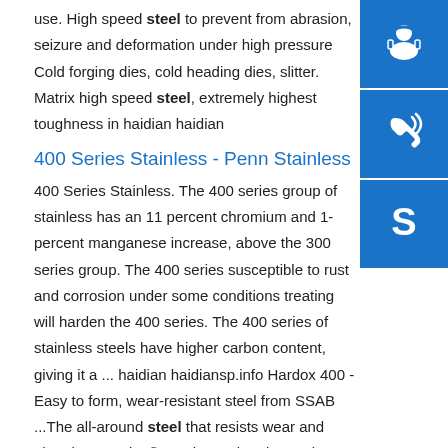use. High speed steel to prevent from abrasion, seizure and deformation under high pressure Cold forging dies, cold heading dies, slitter. Matrix high speed steel, extremely highest toughness in haidian haidian
400 Series Stainless - Penn Stainless
400 Series Stainless. The 400 series group of stainless has an 11 percent chromium and 1-percent manganese increase, above the 300 series group. The 400 series susceptible to rust and corrosion under some conditions treating will harden the 400 series. The 400 series of stainless steels have higher carbon content, giving it a ... haidian haidiansp.info Hardox 400 - Easy to form, wear-resistant steel from SSAB ...The all-around steel that resists wear and abrasion. Hardox® 400 is an abrasion-resistant steel with a nominal hardness of 400 HBW. Hardox® 400 is an all-around
[Figure (illustration): Blue square icon with white headset/customer support symbol]
[Figure (illustration): Blue square icon with white phone/call symbol]
[Figure (illustration): Blue square icon with white Skype logo symbol]